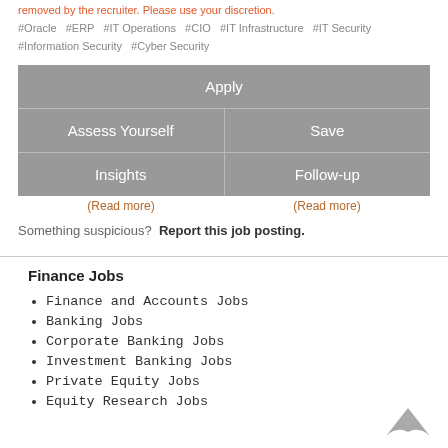removed by the recruiter. Please use your discretion.
#Oracle #ERP #IT Operations #CIO #IT Infrastructure #IT Security #Information Security #Cyber Security
Apply
Assess Yourself
Save
Insights
Follow-up
(Read more)
(Read more)
Something suspicious? Report this job posting.
Finance Jobs
Finance and Accounts Jobs
Banking Jobs
Corporate Banking Jobs
Investment Banking Jobs
Private Equity Jobs
Equity Research Jobs